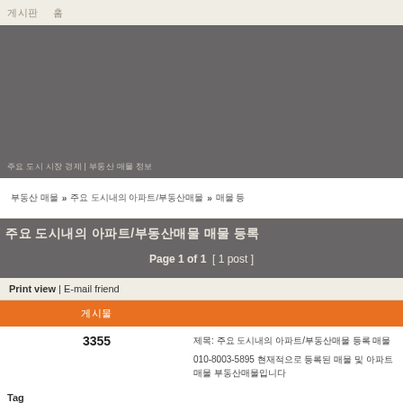게시판   홈
[Figure (other): Gray banner area with Korean caption text at bottom: 주요 도시 시장 경제 | 부동산 매물 정보]
부동산 매물 » 주요 도시내의 아파트/부동산매물 » 매물 등
주요 도시내의 아파트/부동산매물 매물 등록
Page 1 of 1   [ 1 post ]
Print view | E-mail friend
| 게시물 |  |
| --- | --- |
| 3355 | 제목: 주요 도시내의 아파트/부동산매물 등록 매물
010-8003-5895 현재적으로 등록된 매물 및 아파트매물 부동산매물입니다 |
Tag